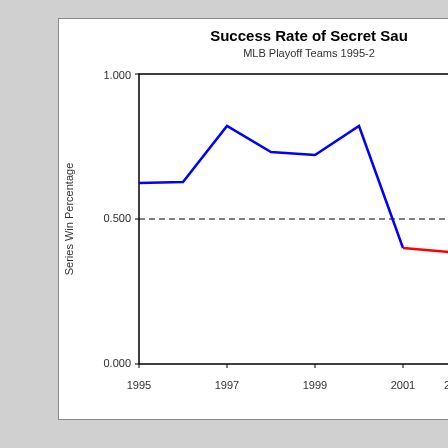[Figure (line-chart): Success Rate of Secret Sau... MLB Playoff Teams 1995-2...]